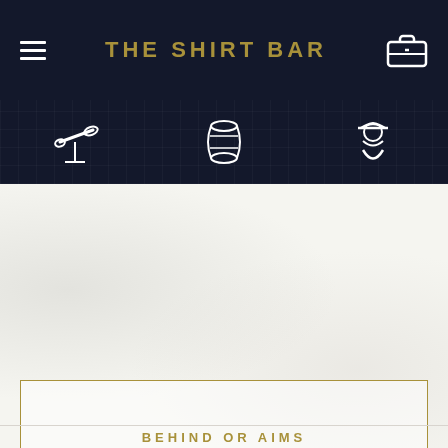THE SHIRT BAR
[Figure (illustration): Navigation icon strip with three white icons on dark navy background: telescope (left), barrel/keg (center), man with hat (right)]
THE SOCIAL BAR
OUR BLOG
PRESS
BEHIND OR AIMS